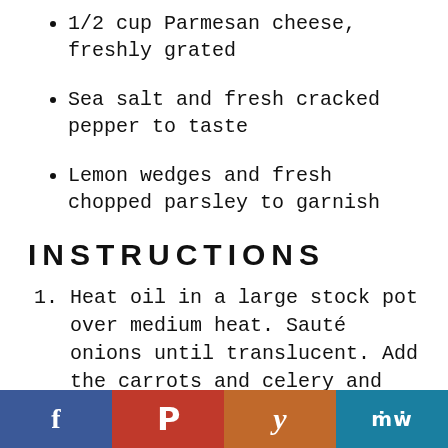1/2 cup Parmesan cheese, freshly grated
Sea salt and fresh cracked pepper to taste
Lemon wedges and fresh chopped parsley to garnish
INSTRUCTIONS
Heat oil in a large stock pot over medium heat. Sauté onions until translucent. Add the carrots and celery and sauté 5-6 minutes or until softened. Add the zucchini and continue to sauté for another 5